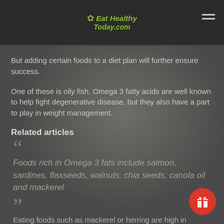Eat Healthy Today.com
But adding certain foods to a diet plan will further ensure success.
One of these is oily fish. Omega 3 fatty acids are well known to help fight degenerative disease, but they also have a part to play in weight management.
Related articles
Foods rich in Omega 3 fats include salmon, sardines, flaxseeds, walnuts, chia seeds, canola oil and mackerel
Eating foods such as mackerel or herring are high in